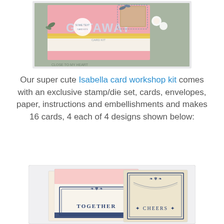[Figure (photo): Scrapbook card kit product photo showing a pink card with GETAWAY text, floral patterned papers, and decorative embellishments on a sage green background]
Our super cute Isabella card workshop kit comes with an exclusive stamp/die set, cards, envelopes, paper, instructions and embellishments and makes 16 cards, 4 each of 4 designs shown below:
[Figure (photo): Two greeting card designs: one cream card with TOGETHER text and navy ornamental frame, one tan card with CHEERS text and navy ornamental frame]